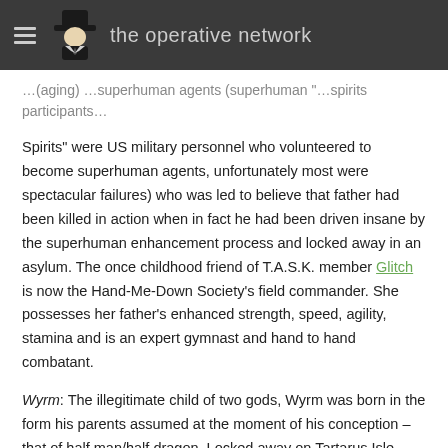the operative network
Spirits" were US military personnel who volunteered to become superhuman agents, unfortunately most were spectacular failures) who was led to believe that father had been killed in action when in fact he had been driven insane by the superhuman enhancement process and locked away in an asylum. The once childhood friend of T.A.S.K. member Glitch is now the Hand-Me-Down Society's field commander. She possesses her father's enhanced strength, speed, agility, stamina and is an expert gymnast and hand to hand combatant.
Wyrm: The illegitimate child of two gods, Wyrm was born in the form his parents assumed at the moment of his conception – that of half man/half dragon. Locked away on Tartarus Isle prison as a child he and Dogfin shared a cell for a time. He was eventually rescued by M.I.A.
Toof: Toof was the first member of the Society and was rescued by Father Mundi